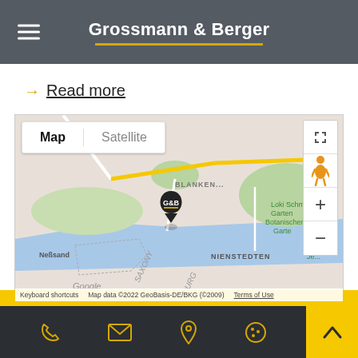Grossmann & Berger
→ Read more
[Figure (map): Google Maps view showing Blankenese area in Hamburg, Germany. A G&B (Grossmann & Berger) pin is placed on the map. Visible areas include Neßsand, SAXONY, BURG, NIENSTEDTEN, OSDORF, KAISERBROOK, and Loki Schmidt Garten Botanischer Garte. Map controls (Map/Satellite toggle, fullscreen, street view, zoom in/out) are visible.]
Keyboard shortcuts  Map data ©2022 GeoBasis-DE/BKG (©2009)  Terms of Use